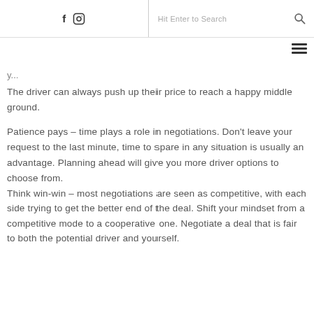f [instagram icon] | Hit Enter to Search [search icon]
y...
The driver can always push up their price to reach a happy middle ground.
Patience pays – time plays a role in negotiations. Don't leave your request to the last minute, time to spare in any situation is usually an advantage. Planning ahead will give you more driver options to choose from. Think win-win – most negotiations are seen as competitive, with each side trying to get the better end of the deal. Shift your mindset from a competitive mode to a cooperative one. Negotiate a deal that is fair to both the potential driver and yourself.